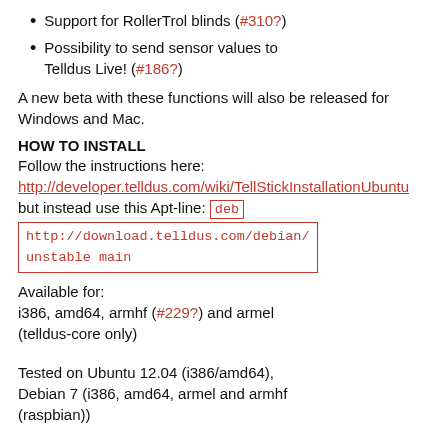Support for RollerTrol blinds (#310?)
Possibility to send sensor values to Telldus Live! (#186?)
A new beta with these functions will also be released for Windows and Mac.
HOW TO INSTALL
Follow the instructions here:
http://developer.telldus.com/wiki/TellStickInstallationUbuntu
but instead use this Apt-line: deb http://download.telldus.com/debian/ unstable main
Available for:
i386, amd64, armhf (#229?) and armel (telldus-core only)
Tested on Ubuntu 12.04 (i386/amd64), Debian 7 (i386, amd64, armel and armhf (raspbian))
Known issues: